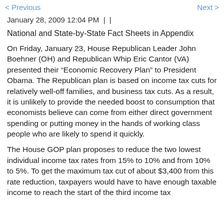< Previous    Next >
January 28, 2009 12:04 PM  |  |
National and State-by-State Fact Sheets in Appendix
On Friday, January 23, House Republican Leader John Boehner (OH) and Republican Whip Eric Cantor (VA) presented their “Economic Recovery Plan” to President Obama. The Republican plan is based on income tax cuts for relatively well-off families, and business tax cuts. As a result, it is unlikely to provide the needed boost to consumption that economists believe can come from either direct government spending or putting money in the hands of working class people who are likely to spend it quickly.
The House GOP plan proposes to reduce the two lowest individual income tax rates from 15% to 10% and from 10% to 5%. To get the maximum tax cut of about $3,400 from this rate reduction, taxpayers would have to have enough taxable income to reach the start of the third income tax